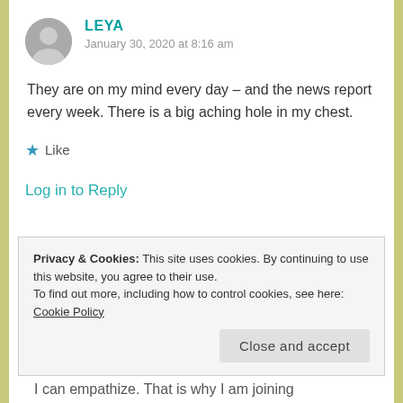LEYA
January 30, 2020 at 8:16 am
They are on my mind every day – and the news report every week. There is a big aching hole in my chest.
★ Like
Log in to Reply
Privacy & Cookies: This site uses cookies. By continuing to use this website, you agree to their use.
To find out more, including how to control cookies, see here: Cookie Policy
Close and accept
I can empathize. That is why I am joining